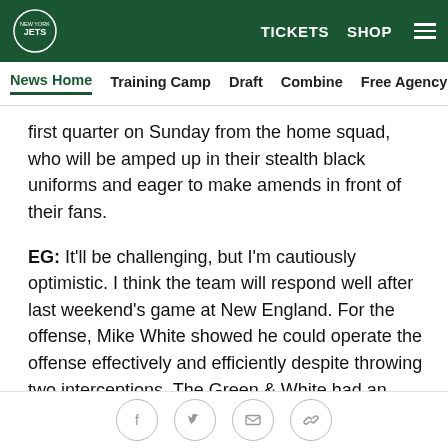New York Jets website header with logo, TICKETS, SHOP navigation and hamburger menu
News Home  Training Camp  Draft  Combine  Free Agency  Fe
first quarter on Sunday from the home squad, who will be amped up in their stealth black uniforms and eager to make amends in front of their fans.
EG: It'll be challenging, but I'm cautiously optimistic. I think the team will respond well after last weekend's game at New England. For the offense, Mike White showed he could operate the offense effectively and efficiently despite throwing two interceptions. The Green & White had an opportunity last weekend to put up first-quarter points but K Matt Ammendola misfired on a field-goal attempt. The offense is knocking on the
Social share icons: Facebook, Twitter, Email, Link